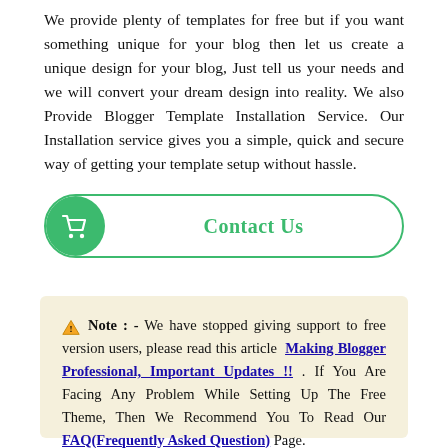We provide plenty of templates for free but if you want something unique for your blog then let us create a unique design for your blog, Just tell us your needs and we will convert your dream design into reality. We also Provide Blogger Template Installation Service. Our Installation service gives you a simple, quick and secure way of getting your template setup without hassle.
[Figure (other): A 'Contact Us' button with a green rounded rectangle border containing a green circle with a shopping cart icon on the left and bold green 'Contact Us' text centered.]
⚠ Note : - We have stopped giving support to free version users, please read this article Making Blogger Professional, Important Updates !! . If You Are Facing Any Problem While Setting Up The Free Theme, Then We Recommend You To Read Our FAQ(Frequently Asked Question) Page.